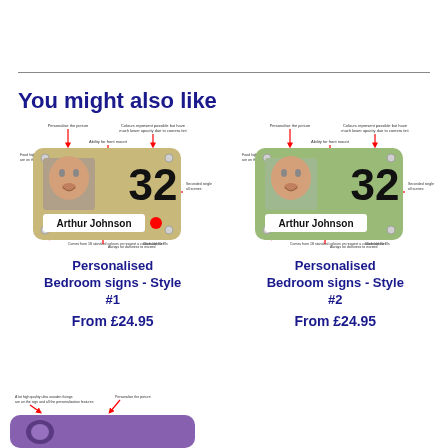You might also like
[Figure (illustration): Personalised bedroom sign style 1 - tan/beige background with photo of elderly man, number 32, name Arthur Johnson, and a red dot, with annotation arrows]
Personalised Bedroom signs - Style #1
From £24.95
[Figure (illustration): Personalised bedroom sign style 2 - green background with photo of elderly man, number 32, name Arthur Johnson, with annotation arrows]
Personalised Bedroom signs - Style #2
From £24.95
[Figure (illustration): Partial view of another product at bottom of page - purple/violet colored item with annotations]